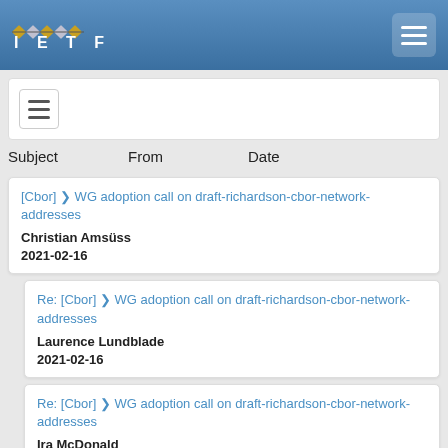IETF navigation header
[Figure (screenshot): IETF logo with diamond pattern and hamburger menu button on blue gradient navbar]
Subject   From   Date
[Cbor] ❯ WG adoption call on draft-richardson-cbor-network-addresses
Christian Amsüss
2021-02-16
Re: [Cbor] ❯ WG adoption call on draft-richardson-cbor-network-addresses
Laurence Lundblade
2021-02-16
Re: [Cbor] ❯ WG adoption call on draft-richardson-cbor-network-addresses
Ira McDonald
2021-02-16